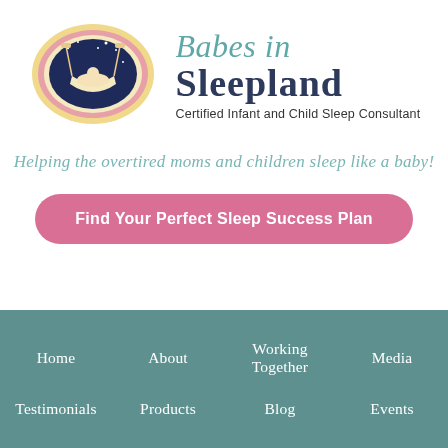[Figure (logo): Babes in Sleepland logo: oval dark navy cloud shape with baby in hanging cradle, crescent moon and stars, surrounded by cream and pink/yellow border rings]
Babes in Sleepland
Certified Infant and Child Sleep Consultant
Helping the overtired moms and children sleep like a baby!
Find Your Perfect Sleep Success Plan
Home
About
Working Together
Media
Testimonials
Products
Blog
Events